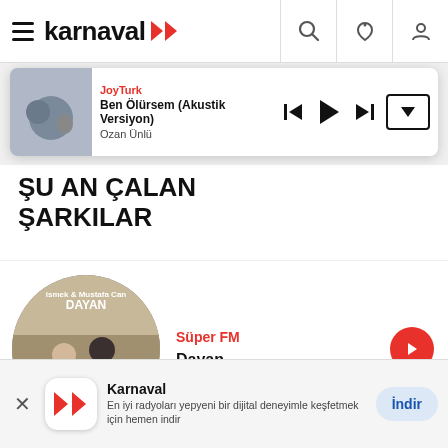karnaval
[Figure (screenshot): Now playing player bar: JoyTurk station, Ben Ölürsem (Akustik Versiyon), Ozan Ünlü, with playback controls]
ŞU AN ÇALAN ŞARKILAR
[Figure (screenshot): Track card: Süper FM - Dayan, circular album art showing two men by a car]
[Figure (screenshot): Track card: Metro FM - Running Up That Hill, circular album art partially visible]
[Figure (screenshot): App install banner: Karnaval app, En iyi radyoları yepyeni bir dijital deneyimle keşfetmek için hemen indir, İndir button]